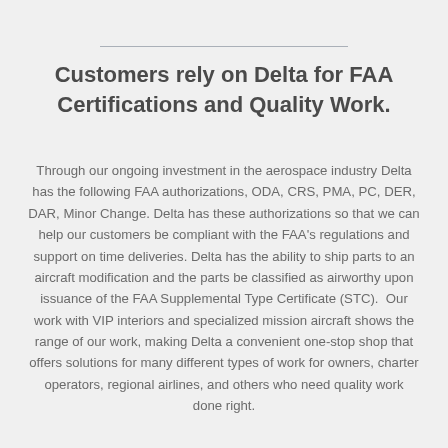Customers rely on Delta for FAA Certifications and Quality Work.
Through our ongoing investment in the aerospace industry Delta has the following FAA authorizations, ODA, CRS, PMA, PC, DER, DAR, Minor Change. Delta has these authorizations so that we can help our customers be compliant with the FAA's regulations and support on time deliveries. Delta has the ability to ship parts to an aircraft modification and the parts be classified as airworthy upon issuance of the FAA Supplemental Type Certificate (STC). Our work with VIP interiors and specialized mission aircraft shows the range of our work, making Delta a convenient one-stop shop that offers solutions for many different types of work for owners, charter operators, regional airlines, and others who need quality work done right.